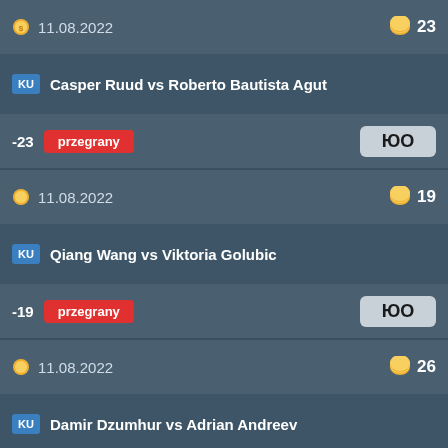11.08.2022  23
Casper Ruud vs Roberto Bautista Agut
-23  przegrany
11.08.2022  19
Qiang Wang vs Viktoria Golubic
-19  przegrany
11.08.2022  26
Damir Dzumhur vs Adrian Andreev
+23.40  wygrany
10.08.2022  25